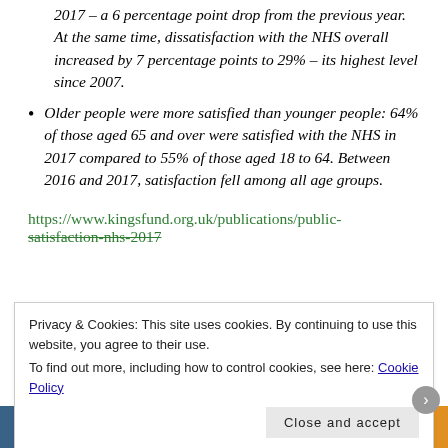2017 – a 6 percentage point drop from the previous year. At the same time, dissatisfaction with the NHS overall increased by 7 percentage points to 29% – its highest level since 2007.
Older people were more satisfied than younger people: 64% of those aged 65 and over were satisfied with the NHS in 2017 compared to 55% of those aged 18 to 64. Between 2016 and 2017, satisfaction fell among all age groups.
https://www.kingsfund.org.uk/publications/public-satisfaction-nhs-2017
Privacy & Cookies: This site uses cookies. By continuing to use this website, you agree to their use. To find out more, including how to control cookies, see here: Cookie Policy
Close and accept
email with more privacy.